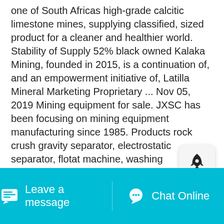one of South Africas high-grade calcitic limestone mines, supplying classified, sized product for a cleaner and healthier world. Stability of Supply 52% black owned Kalaka Mining, founded in 2015, is a continuation of, and an empowerment initiative of, Latilla Mineral Marketing Proprietary ... Nov 05, 2019 Mining equipment for sale. JXSC has been focusing on mining equipment manufacturing since 1985. Products rock crush gravity separator, electrostatic separator, flotat machine, washing equipment, ore feeder, screen sieve, etc. Application metallurgical, mineral processing, sand making, aggregate processing, etc. Contact us for quotation
Get More
[Figure (other): Rocket/notification popup widget icon in a rounded rectangle]
Leave a message    Chat Online